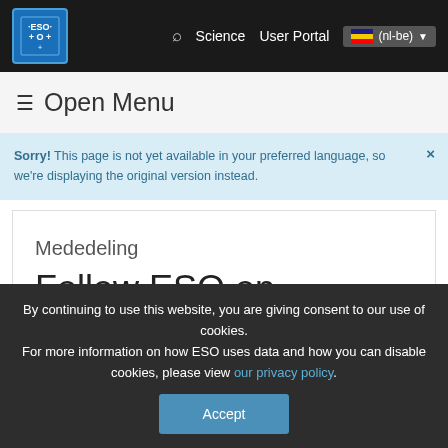ESO navigation bar with logo, Science, User Portal, (nl-be) language selector
≡ Open Menu
Sorry! This page is not yet available in your preferred language, so we're displaying the original version instead.
Mededeling
Follow ESO on Instagram
By continuing to use this website, you are giving consent to our use of cookies.
For more information on how ESO uses data and how you can disable cookies, please view our privacy policy.
Accept